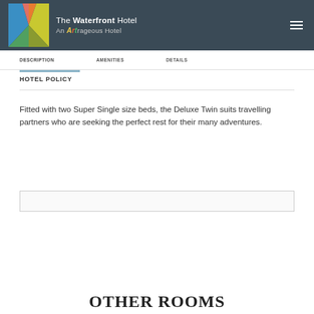[Figure (logo): The Waterfront Hotel logo — colorful W shape with blue, coral, orange, yellow, green triangular segments. Text: 'The Waterfront Hotel / An Artrageous Hotel']
DESCRIPTION   AMENITIES   DETAILS
HOTEL POLICY
Fitted with two Super Single size beds, the Deluxe Twin suits travelling partners who are seeking the perfect rest for their many adventures.
OTHER ROOMS